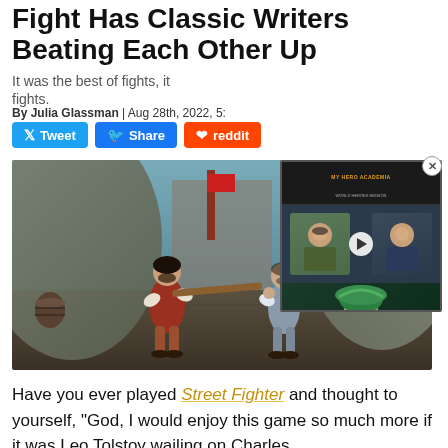Fight Has Classic Writers Beating Each Other Up
It was the best of fights, it was the worst of fights.
By Julia Glassman | Aug 28th, 2022, 5:
[Figure (screenshot): Video overlay thumbnail showing two men and a cosplayer, with My Hero Academia branding and a play button]
[Figure (screenshot): Game screenshot showing two historical-looking characters fighting with a stick/bat, in a stone environment]
Have you ever played Street Fighter and thought to yourself, “God, I would enjoy this game so much more if it was Leo Tolstoy wailing on Charles